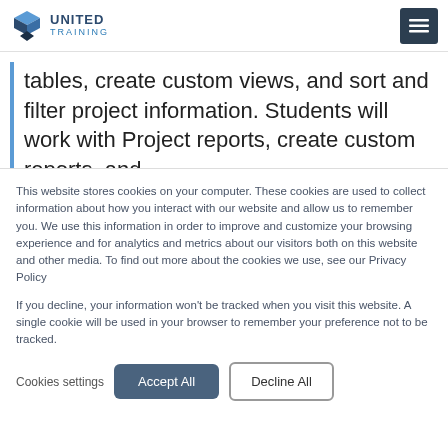United Training [logo] [menu button]
tables, create custom views, and sort and filter project information. Students will work with Project reports, create custom reports, and
This website stores cookies on your computer. These cookies are used to collect information about how you interact with our website and allow us to remember you. We use this information in order to improve and customize your browsing experience and for analytics and metrics about our visitors both on this website and other media. To find out more about the cookies we use, see our Privacy Policy
If you decline, your information won't be tracked when you visit this website. A single cookie will be used in your browser to remember your preference not to be tracked.
Cookies settings  Accept All  Decline All